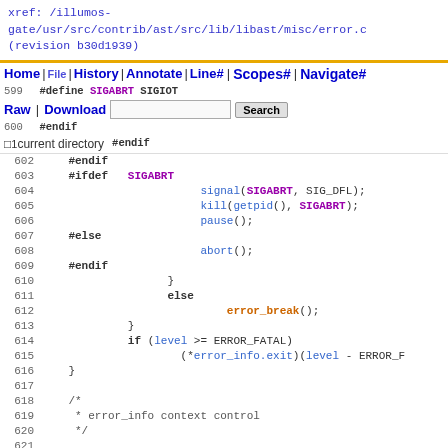xref: /illumos-gate/usr/src/contrib/ast/src/lib/libast/misc/error.c (revision b30d1939)
[Figure (screenshot): Navigation bar with Home, File, History, Annotate, Line#, Scopes#, Navigate# links, Raw, Download links, search box, Search button, and current directory checkbox]
Code listing lines 599-623 from error.c showing C preprocessor directives and code including SIGABRT signal handling, abort(), error_break(), if/else blocks, and static Error_info_t* freecontext declaration